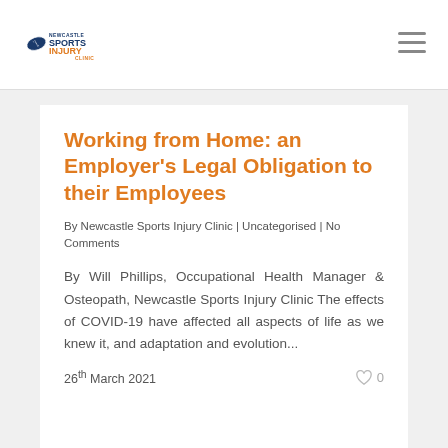Newcastle Sports Injury Clinic
Working from Home: an Employer's Legal Obligation to their Employees
By Newcastle Sports Injury Clinic | Uncategorised | No Comments
By Will Phillips, Occupational Health Manager & Osteopath, Newcastle Sports Injury Clinic The effects of COVID-19 have affected all aspects of life as we knew it, and adaptation and evolution...
26th March 2021  0